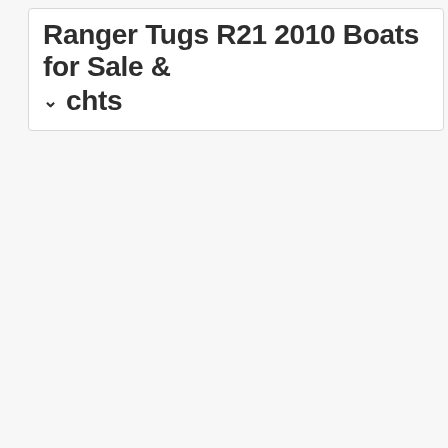Ranger Tugs R21 2010 Boats for Sale & chts